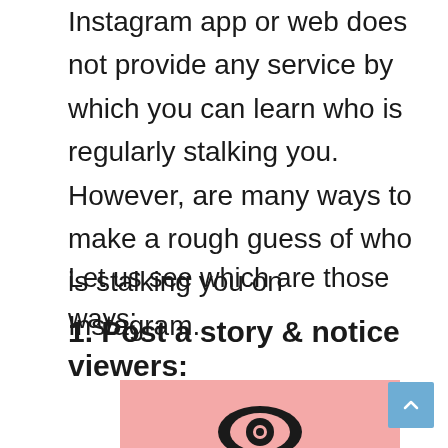Instagram app or web does not provide any service by which you can learn who is regularly stalking you. However, are many ways to make a rough guess of who is stalking you on Instagram.
Let us see which are those ways:
1. Post a story & notice viewers:
[Figure (illustration): Pink background illustration with a black eye icon and caption reading 'Post a story & notice viewers']